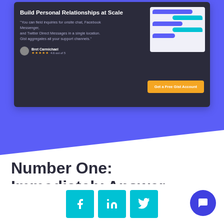[Figure (screenshot): Screenshot of a product UI card on a purple/dark background. Title: 'Build Personal Relationships at Scale'. Quote from Bret Carmichael with star rating. 'Get a Free Gist Account' orange CTA button. Chat interface mockup on the right.]
Number One: Immediately Answer Questions
[Figure (infographic): Social sharing icons: Facebook, LinkedIn, Twitter in cyan squares. Purple chat widget button at bottom right.]